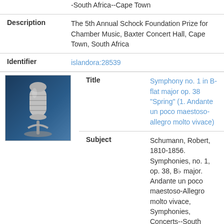-South Africa--Cape Town
Description
Identifier
[Figure (photo): Microphone icon on dark blue background]
Title
Subject
Description
Identifier